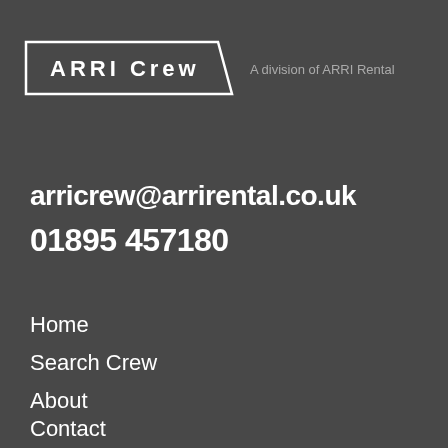[Figure (logo): ARRI Crew logo with white bordered parallelogram shape containing bold text 'ARRI Crew', and subtitle 'A division of ARRI Rental' to the right]
arricrew@arrirental.co.uk
01895 457180
Home
Search Crew
About
Contact